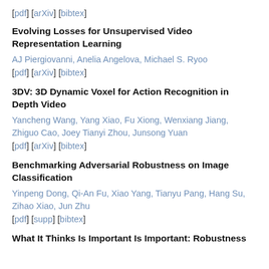[pdf] [arXiv] [bibtex]
Evolving Losses for Unsupervised Video Representation Learning
AJ Piergiovanni, Anelia Angelova, Michael S. Ryoo
[pdf] [arXiv] [bibtex]
3DV: 3D Dynamic Voxel for Action Recognition in Depth Video
Yancheng Wang, Yang Xiao, Fu Xiong, Wenxiang Jiang, Zhiguo Cao, Joey Tianyi Zhou, Junsong Yuan
[pdf] [arXiv] [bibtex]
Benchmarking Adversarial Robustness on Image Classification
Yinpeng Dong, Qi-An Fu, Xiao Yang, Tianyu Pang, Hang Su, Zihao Xiao, Jun Zhu
[pdf] [supp] [bibtex]
What It Thinks Is Important Is Important: Robustness